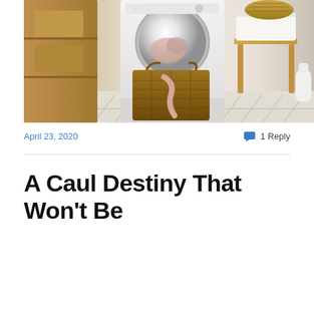[Figure (photo): Laundry room scene with a white front-loading washing machine open with laundry inside, a large wicker basket on the floor, a small wooden side table with a white fabric basket on top, a white detergent bottle, a patterned rug on the floor, and wooden shelving on the left side.]
April 23, 2020
1 Reply
A Caul Destiny That Won't Be